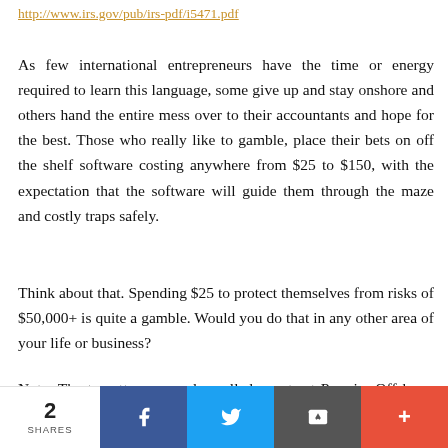http://www.irs.gov/pub/irs-pdf/i5471.pdf
As few international entrepreneurs have the time or energy required to learn this language, some give up and stay onshore and others hand the entire mess over to their accountants and hope for the best. Those who really like to gamble, place their bets on off the shelf software costing anywhere from $25 to $150, with the expectation that the software will guide them through the maze and costly traps safely.
Think about that. Spending $25 to protect themselves from risks of $50,000+ is quite a gamble. Would you do that in any other area of your life or business?
Note: The tax attorneys and enrolled agents at Premier Offshore, Inc. have decades of combined experience in international
2 SHARES  [Facebook] [Twitter] [Email] [+]